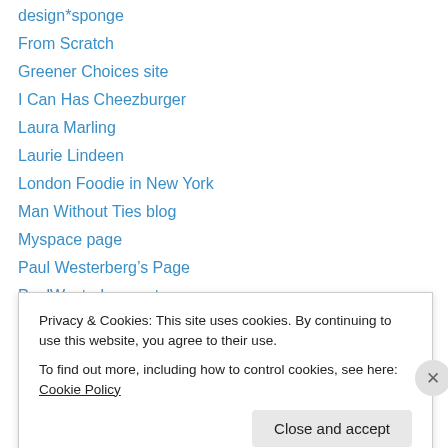design*sponge
From Scratch
Greener Choices site
I Can Has Cheezburger
Laura Marling
Laurie Lindeen
London Foodie in New York
Man Without Ties blog
Myspace page
Paul Westerberg’s Page
PaulWesterberg.net
Rufus Wainwright
StoryCorps Weblog
Privacy & Cookies: This site uses cookies. By continuing to use this website, you agree to their use.
To find out more, including how to control cookies, see here: Cookie Policy
Close and accept